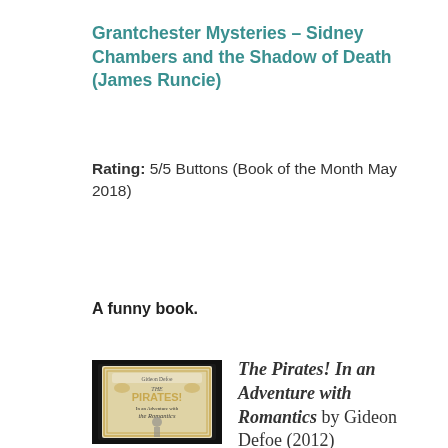Grantchester Mysteries – Sidney Chambers and the Shadow of Death (James Runcie)
Rating: 5/5 Buttons (Book of the Month May 2018)
A funny book.
[Figure (photo): Book cover of The Pirates! In an Adventure with the Romantics by Gideon Defoe, showing a figure with the title text on a decorative border]
The Pirates! In an Adventure with Romantics by Gideon Defoe (2012)